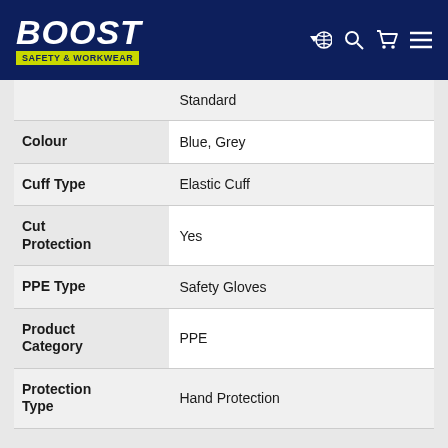[Figure (logo): BOOST Safety & Workwear logo with dark navy background, white bold italic BOOST text, yellow-green tagline bar, and navigation icons (globe, search, cart, menu)]
| Property | Value |
| --- | --- |
|  | Standard |
| Colour | Blue, Grey |
| Cuff Type | Elastic Cuff |
| Cut Protection | Yes |
| PPE Type | Safety Gloves |
| Product Category | PPE |
| Protection Type | Hand Protection |